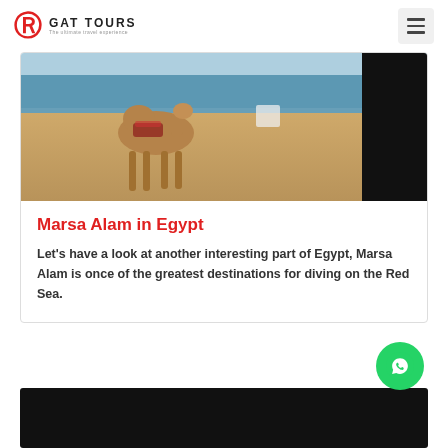GAT TOURS - The ultimate travel experience
[Figure (photo): Beach scene with a camel standing on sandy shore near the Red Sea, with blue water visible in the background and a beach chair; right portion is black/dark.]
Marsa Alam in Egypt
Let's have a look at another interesting part of Egypt, Marsa Alam is once of the greatest destinations for diving on the Red Sea.
[Figure (photo): Dark/black image at the bottom of the page, partially visible.]